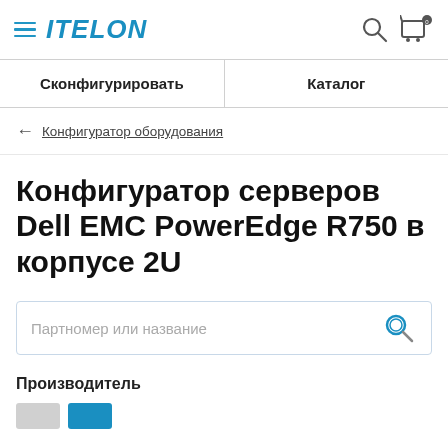ITELON
Сконфигурировать | Каталог
← Конфигуратор оборудования
Конфигуратор серверов Dell EMC PowerEdge R750 в корпусе 2U
Партномер или название
Производитель